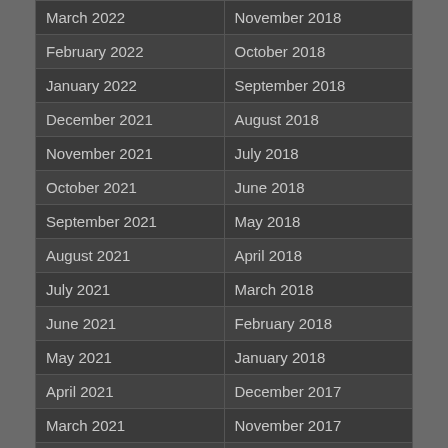| March 2022 | November 2018 |
| February 2022 | October 2018 |
| January 2022 | September 2018 |
| December 2021 | August 2018 |
| November 2021 | July 2018 |
| October 2021 | June 2018 |
| September 2021 | May 2018 |
| August 2021 | April 2018 |
| July 2021 | March 2018 |
| June 2021 | February 2018 |
| May 2021 | January 2018 |
| April 2021 | December 2017 |
| March 2021 | November 2017 |
| February 2021 | October 2017 |
| January 2021 | September 2017 |
| December 2020 | August 2017 |
| November 2020 | July 2017 |